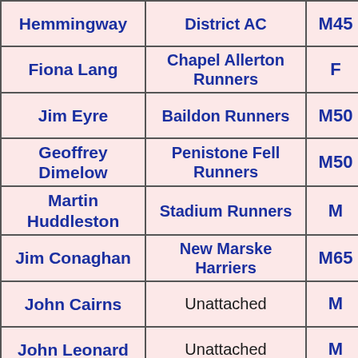| Name | Club | Category | Number |
| --- | --- | --- | --- |
| Hemmingway | District AC | M45 | 4 |
| Fiona Lang | Chapel Allerton Runners | F | 4 |
| Jim Eyre | Baildon Runners | M50 | 4 |
| Geoffrey Dimelow | Penistone Fell Runners | M50 | 4 |
| Martin Huddleston | Stadium Runners | M | 4 |
| Jim Conaghan | New Marske Harriers | M65 | 4 |
| John Cairns | Unattached | M | 4 |
| John Leonard | Unattached | M | 4 |
| … |  |  |  |